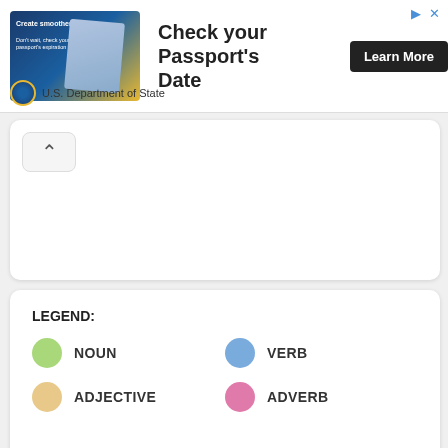[Figure (infographic): Advertisement banner: Check your Passport's Date - U.S. Department of State ad with passport image, Learn More button, and close icons in corner]
[Figure (other): Collapsed white card with a chevron-up button in the top-left corner]
LEGEND: NOUN, VERB, ADJECTIVE, ADVERB with colored circles indicating part-of-speech categories